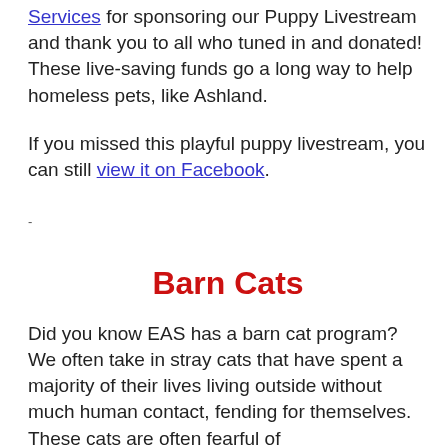Services for sponsoring our Puppy Livestream and thank you to all who tuned in and donated! These live-saving funds go a long way to help homeless pets, like Ashland.
If you missed this playful puppy livestream, you can still view it on Facebook.
-
Barn Cats
Did you know EAS has a barn cat program? We often take in stray cats that have spent a majority of their lives living outside without much human contact, fending for themselves. These cats are often fearful of